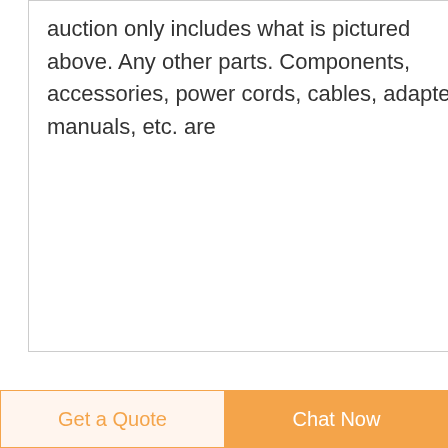auction only includes what is pictured above. Any other parts. Components, accessories, power cords, cables, adapters, manuals, etc. are
[Figure (photo): Small thumbnail image with blue background showing medical tubing/catheter]
Accessories for CURLIN Infusion Pumps Moog Medical
CURLIN Infusion Accessories. A full line of accessories compatible with CURLIN infusion pumps is available for
Get a Quote
Chat Now